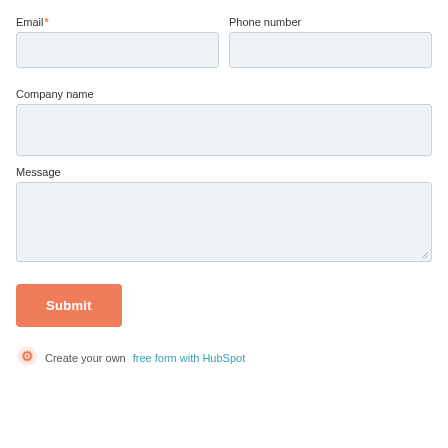Email*
Phone number
Company name
Message
Submit
Create your own free form with HubSpot